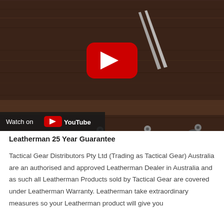[Figure (screenshot): YouTube video thumbnail showing three Leatherman scissors (red, blue, and gray) laid on a dark wood surface, with a YouTube play button overlay in the center. A 'Watch on YouTube' bar appears at the bottom left.]
Leatherman 25 Year Guarantee
Tactical Gear Distributors Pty Ltd (Trading as Tactical Gear) Australia are an authorised and approved Leatherman Dealer in Australia and as such all Leatherman Products sold by Tactical Gear are covered under Leatherman Warranty. Leatherman take extraordinary measures so your Leatherman product will give you